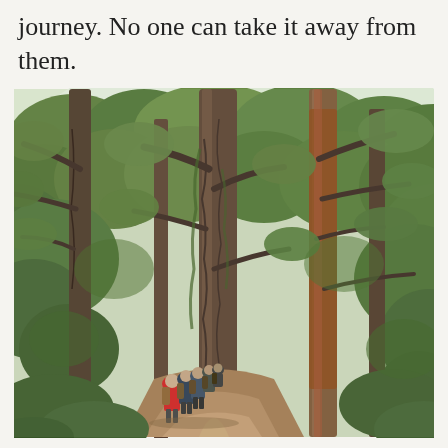journey. No one can take it away from them.
[Figure (photo): Group of hikers with backpacks walking along a trail through a dense, lush forest with very tall, moss-covered trees and green foliage. One hiker wears a red jacket. The trail is a narrow dirt path.]